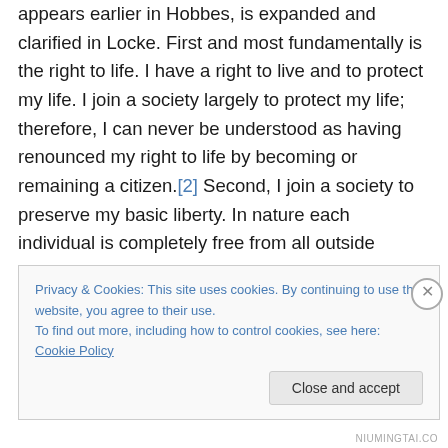appears earlier in Hobbes, is expanded and clarified in Locke. First and most fundamentally is the right to life. I have a right to live and to protect my life. I join a society largely to protect my life; therefore, I can never be understood as having renounced my right to life by becoming or remaining a citizen.[2] Second, I join a society to preserve my basic liberty. In nature each individual is completely free from all outside control, subject only to the laws of nature revealed through reason. As a citizen in a society, I may give up some of my freedoms, but I do so only to preserve my basic liberty
Privacy & Cookies: This site uses cookies. By continuing to use this website, you agree to their use. To find out more, including how to control cookies, see here: Cookie Policy
NIUMINGTAI.CO